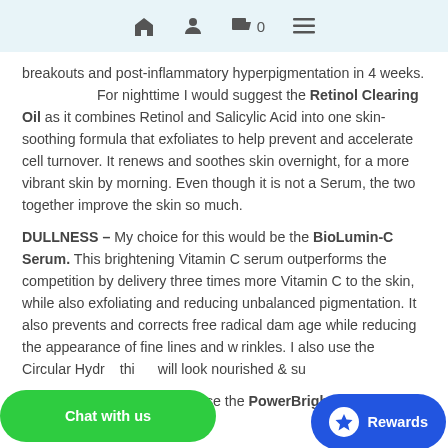Home | Account | Cart 0 | Menu
breakouts and post-inflammatory hyperpigmentation in 4 weeks.                    For nighttime I would suggest the Retinol Clearing Oil as it combines Retinol and Salicylic Acid into one skin-soothing formula that exfoliates to help prevent and accelerate cell turnover. It renews and soothes skin overnight, for a more vibrant skin by morning. Even though it is not a Serum, the two together improve the skin so much.
DULLNESS – My choice for this would be the BioLumin-C Serum. This brightening Vitamin C serum outperforms the competition by delivery three times more Vitamin C to the skin, while also exfoliating and reducing unbalanced pigmentation. It also prevents and corrects free radical damage while reducing the appearance of fine lines and wrinkles. I also use the Circular Hydr... this... will look nourished & su...
HYPERPIGMENTATION - I use the PowerBright Dark Spot